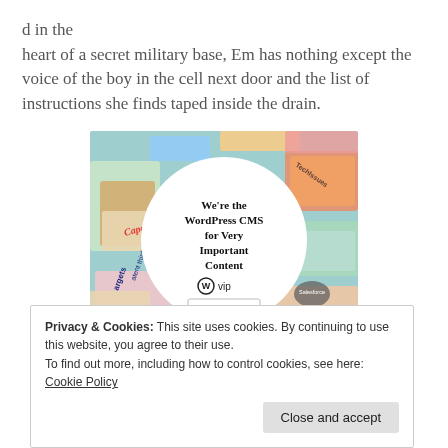d in the heart of a secret military base, Em has nothing except the voice of the boy in the cell next door and the list of instructions she finds taped inside the drain.
[Figure (infographic): WordPress VIP advertisement banner showing colorful magazine/content cards in the background with a white circle in the center containing text: We're the WordPress CMS for Very Important Content, with WordPress VIP logo and a Learn more arrow button.]
Privacy & Cookies: This site uses cookies. By continuing to use this website, you agree to their use.
To find out more, including how to control cookies, see here: Cookie Policy
Close and accept